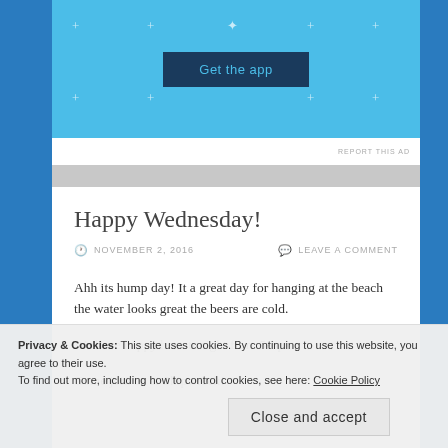[Figure (screenshot): Ad banner with blue background and 'Get the app' button]
Happy Wednesday!
NOVEMBER 2, 2016    LEAVE A COMMENT
Ahh its hump day! It a great day for hanging at the beach the water looks great the beers are cold.
We have happy hour tonight from 5-6pm
Come join us at Shipwreck!
Privacy & Cookies: This site uses cookies. By continuing to use this website, you agree to their use.
To find out more, including how to control cookies, see here: Cookie Policy